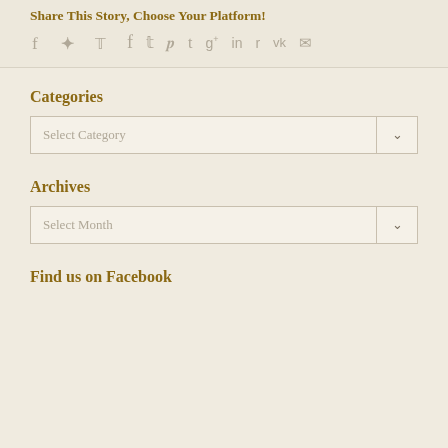Share This Story, Choose Your Platform!
[Figure (infographic): Social sharing icons: Facebook, Twitter, Pinterest, Tumblr, Google+, LinkedIn, Reddit, VK, Email]
Categories
[Figure (other): Dropdown selector labeled 'Select Category' with arrow button]
Archives
[Figure (other): Dropdown selector labeled 'Select Month' with arrow button]
Find us on Facebook